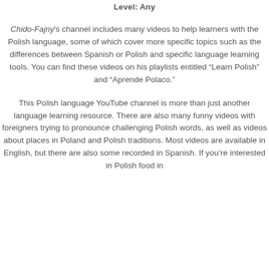Level: Any
Chido-Fajny's channel includes many videos to help learners with the Polish language, some of which cover more specific topics such as the differences between Spanish or Polish and specific language learning tools. You can find these videos on his playlists entitled “Learn Polish” and “Aprende Polaco.”
This Polish language YouTube channel is more than just another language learning resource. There are also many funny videos with foreigners trying to pronounce challenging Polish words, as well as videos about places in Poland and Polish traditions. Most videos are available in English, but there are also some recorded in Spanish. If you’re interested in Polish food in